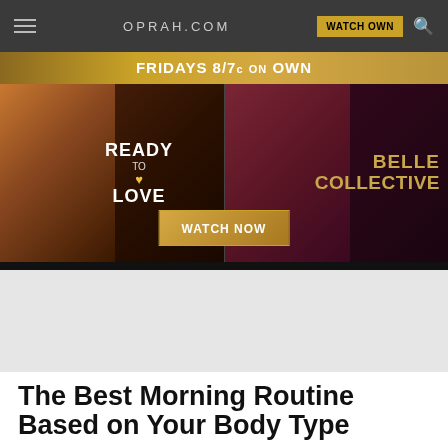OPRAH.COM
[Figure (screenshot): Oprah.com advertisement banner for OWN network shows 'FRIDAYS 8/7c ON OWN' with promotional images for 'READY TO LOVE' and 'BELLE COLLECTIVE' with a WATCH NOW button]
The Best Morning Routine Based on Your Body Type
There are some universal rules that apply, no matter